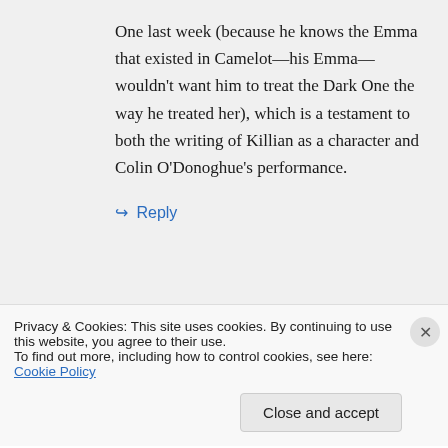One last week (because he knows the Emma that existed in Camelot—his Emma—wouldn't want him to treat the Dark One the way he treated her), which is a testament to both the writing of Killian as a character and Colin O'Donoghue's performance.
↪ Reply
ohisgirl on October 23, 2015 at 1:21 am
Privacy & Cookies: This site uses cookies. By continuing to use this website, you agree to their use.
To find out more, including how to control cookies, see here: Cookie Policy
Close and accept